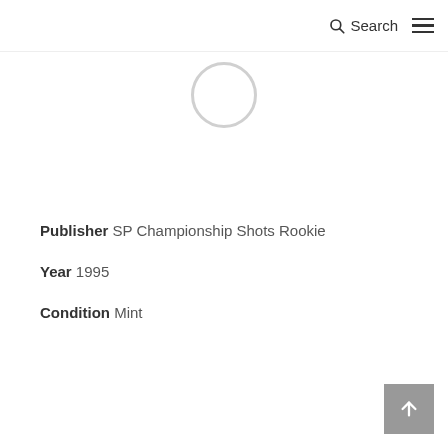Search
[Figure (other): Loading spinner circle indicator]
Publisher SP Championship Shots Rookie
Year 1995
Condition Mint